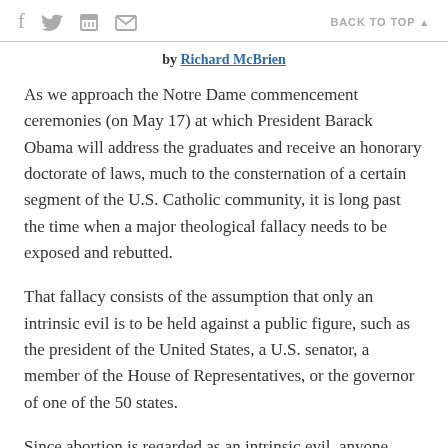f  [twitter]  [print]  [mail]    BACK TO TOP ▲
by Richard McBrien
As we approach the Notre Dame commencement ceremonies (on May 17) at which President Barack Obama will address the graduates and receive an honorary doctorate of laws, much to the consternation of a certain segment of the U.S. Catholic community, it is long past the time when a major theological fallacy needs to be exposed and rebutted.
That fallacy consists of the assumption that only an intrinsic evil is to be held against a public figure, such as the president of the United States, a U.S. senator, a member of the House of Representatives, or the governor of one of the 50 states.
Since abortion is regarded as an intrinsic evil, anyone